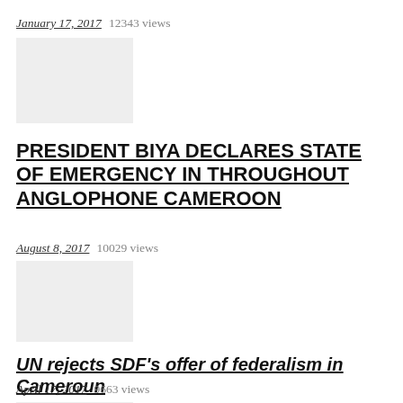January 17, 2017  12343 views
[Figure (photo): Thumbnail image placeholder (light gray rectangle)]
PRESIDENT BIYA DECLARES STATE OF EMERGENCY IN THROUGHOUT ANGLOPHONE CAMEROON
August 8, 2017  10029 views
[Figure (photo): Thumbnail image placeholder (light gray rectangle)]
UN rejects SDF's offer of federalism in Cameroun
April 17, 2017  9663 views
[Figure (photo): Thumbnail image placeholder (light gray rectangle, partially visible)]